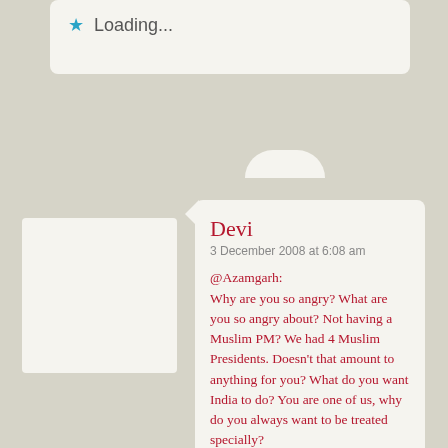[Figure (screenshot): Top card with loading indicator showing a blue star icon and 'Loading...' text on a light beige card with a tab at the bottom]
[Figure (screenshot): User avatar placeholder box on the left side]
Devi
3 December 2008 at 6:08 am
@Azamgarh:
Why are you so angry? What are you so angry about? Not having a Muslim PM? We had 4 Muslim Presidents. Doesn't that amount to anything for you? What do you want India to do? You are one of us, why do you always want to be treated specially?
@ES: